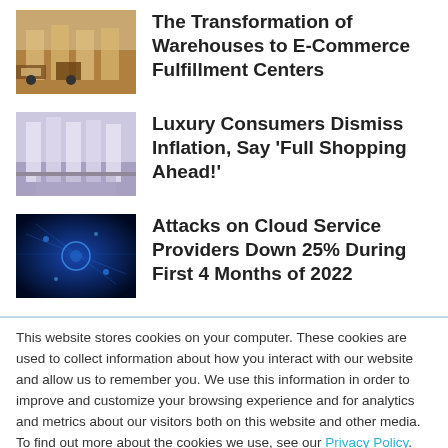[Figure (photo): Warehouse interior with forklifts and shelving]
The Transformation of Warehouses to E-Commerce Fulfillment Centers
[Figure (photo): Luxury retail store interior]
Luxury Consumers Dismiss Inflation, Say 'Full Shopping Ahead!'
[Figure (photo): Dark blue digital/cyber background]
Attacks on Cloud Service Providers Down 25% During First 4 Months of 2022
This website stores cookies on your computer. These cookies are used to collect information about how you interact with our website and allow us to remember you. We use this information in order to improve and customize your browsing experience and for analytics and metrics about our visitors both on this website and other media. To find out more about the cookies we use, see our Privacy Policy. California residents have the right to direct us not to sell their personal information to third parties by filing an Opt-Out Request: Do Not Sell My Personal Info.